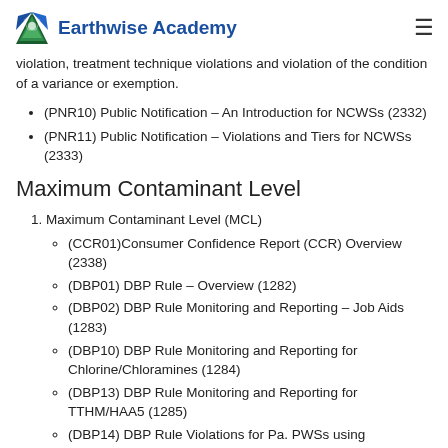Earthwise Academy
violation, treatment technique violations and violation of the condition of a variance or exemption.
(PNR10) Public Notification – An Introduction for NCWSs (2332)
(PNR11) Public Notification – Violations and Tiers for NCWSs (2333)
Maximum Contaminant Level
1. Maximum Contaminant Level (MCL)
(CCR01)Consumer Confidence Report (CCR) Overview (2338)
(DBP01) DBP Rule – Overview (1282)
(DBP02) DBP Rule Monitoring and Reporting – Job Aids (1283)
(DBP10) DBP Rule Monitoring and Reporting for Chlorine/Chloramines (1284)
(DBP13) DBP Rule Monitoring and Reporting for TTHM/HAA5 (1285)
(DBP14) DBP Rule Violations for Pa. PWSs using Chorine/Chloramines (1825)